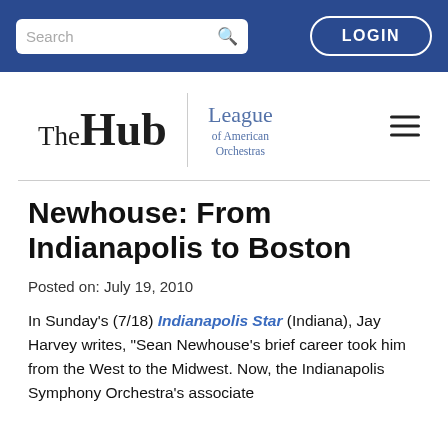Search | LOGIN
[Figure (logo): The Hub | League of American Orchestras logo with hamburger menu]
Newhouse: From Indianapolis to Boston
Posted on: July 19, 2010
In Sunday's (7/18) Indianapolis Star (Indiana), Jay Harvey writes, "Sean Newhouse's brief career took him from the West to the Midwest. Now, the Indianapolis Symphony Orchestra's associate